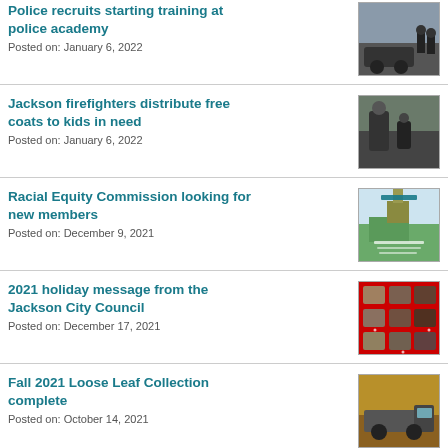Police recruits starting training at police academy
Posted on: January 6, 2022
Jackson firefighters distribute free coats to kids in need
Posted on: January 6, 2022
Racial Equity Commission looking for new members
Posted on: December 9, 2021
2021 holiday message from the Jackson City Council
Posted on: December 17, 2021
Fall 2021 Loose Leaf Collection complete
Posted on: October 14, 2021
Neighborhood meeting for
Posted on: (continues)